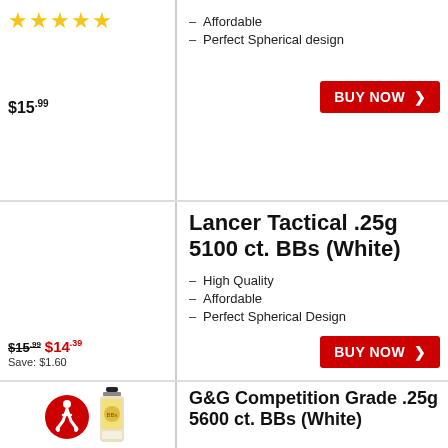[Figure (other): 5 gold star rating]
Affordable
Perfect Spherical design
$15.99
BUY NOW
Lancer Tactical .25g 5100 ct. BBs (White)
High Quality
Affordable
Perfect Spherical Design
$15.99 $14.39 Save: $1.60
BUY NOW
[Figure (photo): Accessibility icon (red circle with wheelchair symbol) and a bottle of BBs]
G&G Competition Grade .25g 5600 ct. BBs (White)